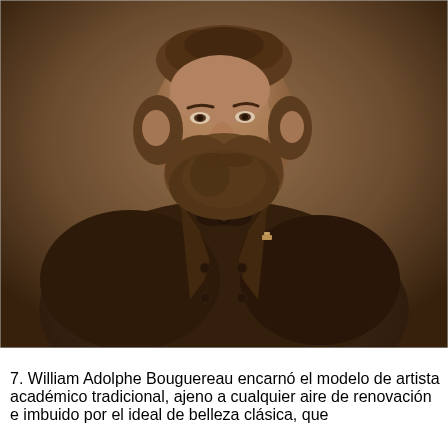[Figure (photo): Sepia-toned portrait photograph of William Adolphe Bouguereau, a bearded man wearing a double-breasted dark coat with a bow tie, posed in a three-quarter view against a dark background.]
7. William Adolphe Bouguereau encarnó el modelo de artista académico tradicional, ajeno a cualquier aire de renovación e imbuido por el ideal de belleza clásica, que